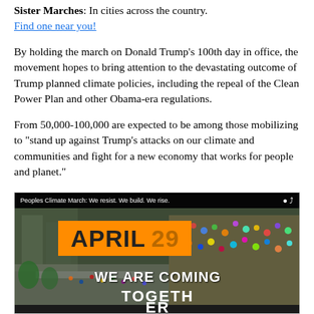Sister Marches: In cities across the country.
Find one near you!
By holding the march on Donald Trump's 100th day in office, the movement hopes to bring attention to the devastating outcome of Trump planned climate policies, including the repeal of the Clean Power Plan and other Obama-era regulations.
From 50,000-100,000 are expected to be among those mobilizing to "stand up against Trump's attacks on our climate and communities and fight for a new economy that works for people and planet."
[Figure (screenshot): Video thumbnail showing Peoples Climate March with overlay text 'APRIL 29 WE ARE COMING TOGETHER' and crowd photo in background]